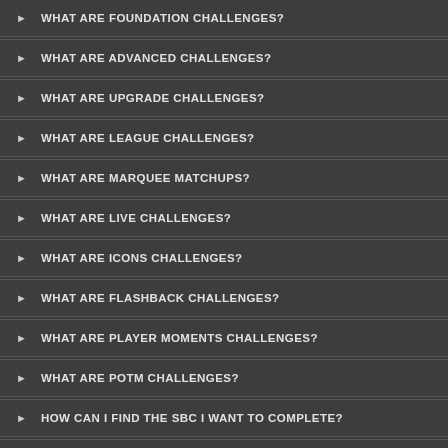WHAT ARE FOUNDATION CHALLENGES?
WHAT ARE ADVANCED CHALLENGES?
WHAT ARE UPGRADE CHALLENGES?
WHAT ARE LEAGUE CHALLENGES?
WHAT ARE MARQUEE MATCHUPS?
WHAT ARE LIVE CHALLENGES?
WHAT ARE ICONS CHALLENGES?
WHAT ARE FLASHBACK CHALLENGES?
WHAT ARE PLAYER MOMENTS CHALLENGES?
WHAT ARE POTM CHALLENGES?
HOW CAN I FIND THE SBC I WANT TO COMPLETE?